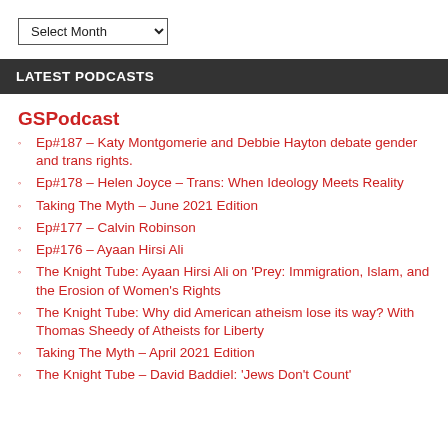[Figure (other): Dropdown selector labeled 'Select Month' with a chevron arrow]
LATEST PODCASTS
GSPodcast
Ep#187 – Katy Montgomerie and Debbie Hayton debate gender and trans rights.
Ep#178 – Helen Joyce – Trans: When Ideology Meets Reality
Taking The Myth – June 2021 Edition
Ep#177 – Calvin Robinson
Ep#176 – Ayaan Hirsi Ali
The Knight Tube: Ayaan Hirsi Ali on 'Prey: Immigration, Islam, and the Erosion of Women's Rights
The Knight Tube: Why did American atheism lose its way? With Thomas Sheedy of Atheists for Liberty
Taking The Myth – April 2021 Edition
The Knight Tube – David Baddiel: 'Jews Don't Count'